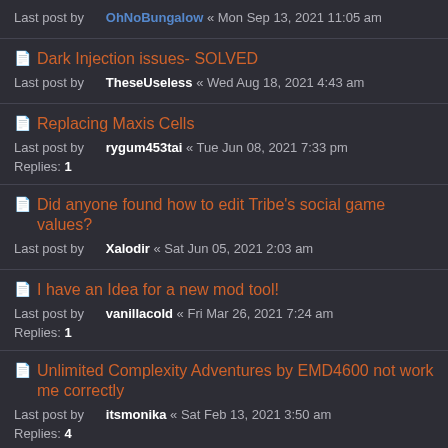Last post by OhNoBungalow « Mon Sep 13, 2021 11:05 am
Dark Injection issues- SOLVED
Last post by TheseUseless « Wed Aug 18, 2021 4:43 am
Replacing Maxis Cells
Last post by rygum453tai « Tue Jun 08, 2021 7:33 pm
Replies: 1
Did anyone found how to edit Tribe's social game values?
Last post by Xalodir « Sat Jun 05, 2021 2:03 am
I have an Idea for a new mod tool!
Last post by vanillacold « Fri Mar 26, 2021 7:24 am
Replies: 1
Unlimited Complexity Adventures by EMD4600 not work me correctly
Last post by itsmonika « Sat Feb 13, 2021 3:50 am
Replies: 4
Problem with Camben's color pack hair parts
Last post by Calidaniel_YT « Tue Jan 26, 2021 12:17 pm